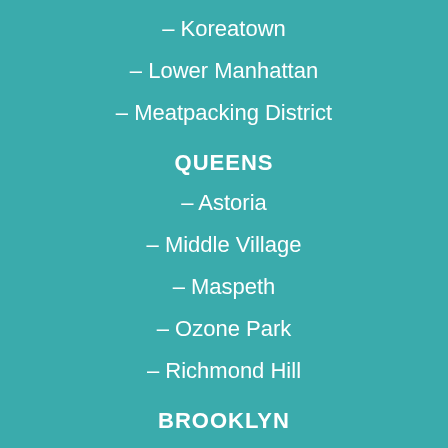– Koreatown
– Lower Manhattan
– Meatpacking District
QUEENS
– Astoria
– Middle Village
– Maspeth
– Ozone Park
– Richmond Hill
BROOKLYN
– Sunset Park
– Dumbo
– Greenpoint
– Williamsburg
– Chinatown